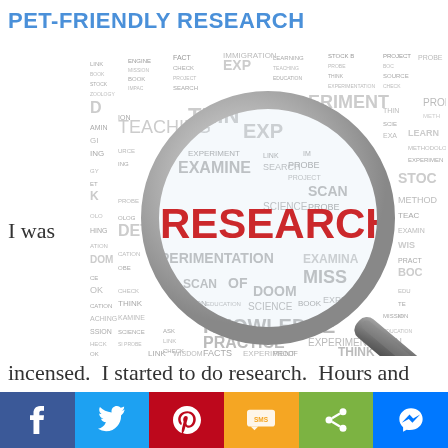PET-FRIENDLY RESEARCH
[Figure (illustration): Word cloud / magnifying glass illustration with the word RESEARCH in large red letters at center, surrounded by research-related words like EXAMINE, EXPERIMENT, KNOWLEDGE, PRACTICE, THINK, PROBE, SCAN, TEACHING, LINK, FACTS, BOOK, SCIENCE, METHODOLOGY etc.]
I was
incensed.  I started to do research.  Hours and hours of research on pet-friendly
f  [twitter]  [pinterest]  SMS  [share]  [messenger]